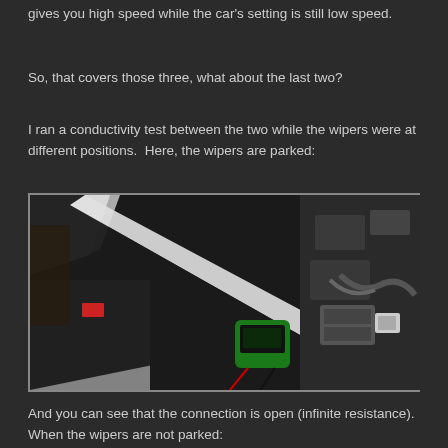gives you high speed while the car's setting is still low speed.
So, that covers those three, what about the last two?
I ran a conductivity test between the two while the wipers were at different positions.  Here, the wipers are parked:
[Figure (photo): Photo of car engine bay area showing a green multimeter being used to test conductivity on wiper components. The car has a white body and the hood is open. Various wiring and mechanical components are visible.]
And you can see that the connection is open (infinite resistance).  When the wipers are not parked: